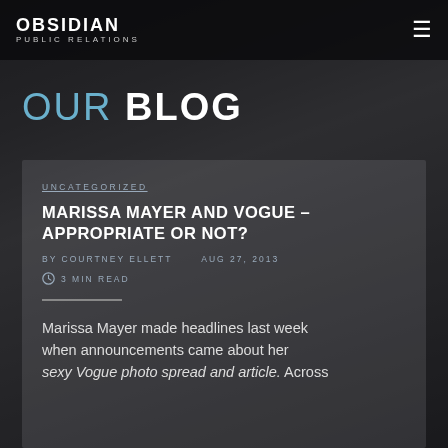OBSIDIAN PUBLIC RELATIONS
OUR BLOG
UNCATEGORIZED
MARISSA MAYER AND VOGUE – APPROPRIATE OR NOT?
BY COURTNEY ELLETT   AUG 27, 2013
3 MIN READ
Marissa Mayer made headlines last week when announcements came about her sexy Vogue photo spread and article. Across